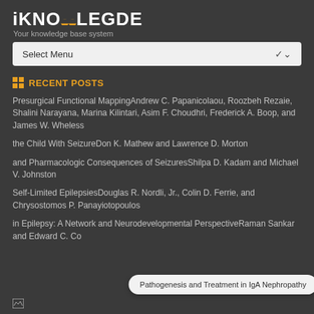[Figure (logo): iKNOWLEDGE logo with orange arch/dome icons between IKNO and LEGDE text]
Your knowledge base system
Select Menu
RECENT POSTS
Presurgical Functional MappingAndrew C. Papanicolaou, Roozbeh Rezaie, Shalini Narayana, Marina Kilintari, Asim F. Choudhri, Frederick A. Boop, and James W. Wheless
the Child With SeizureDon K. Mathew and Lawrence D. Morton
and Pharmacologic Consequences of SeizuresShilpa D. Kadam and Michael V. Johnston
Self-Limited EpilepsiesDouglas R. Nordli, Jr., Colin D. Ferrie, and Chrysostomos P. Panayiotopoulos
in Epilepsy: A Network and Neurodevelopmental PerspectiveRaman Sankar and Edward C. Co
Pathogenesis and Treatment in IgA Nephropathy